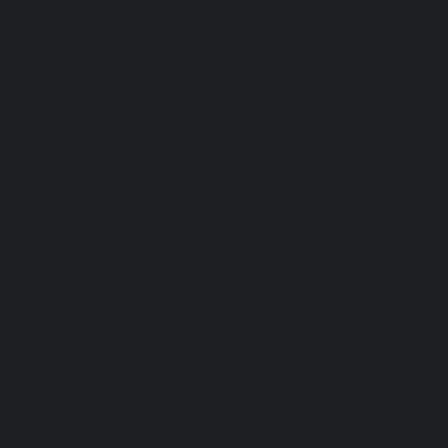film or because I've got stomach p best. I wasn't expecting the music imagined, known pop songs. Som well, some didn't (Seven Nation A interruption). The film's biggest s Cabelo (who I didn't think I knew Havana). Here she actually looks character who has been brought t compliment) - she's wonderfully bursting with song and the came degrees without putting her off. S characters were hit and miss. Idi the wicked stepmother, Billy Port turn as the fairy godmother and l goes amusingly off the rails at the James Corden knows what to do l Romesh Ranganathan were out o